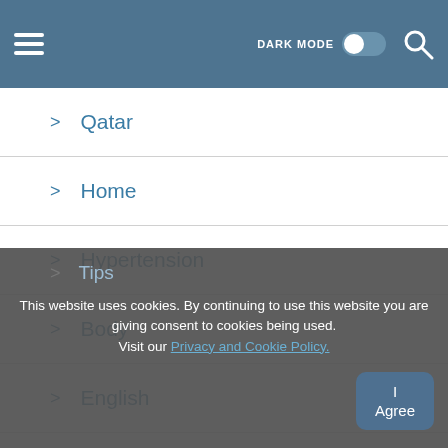DARK MODE [toggle] [search]
> Qatar
> Home
> Hypertension
> Body
> English
> Tips
This website uses cookies. By continuing to use this website you are giving consent to cookies being used. Visit our Privacy and Cookie Policy.